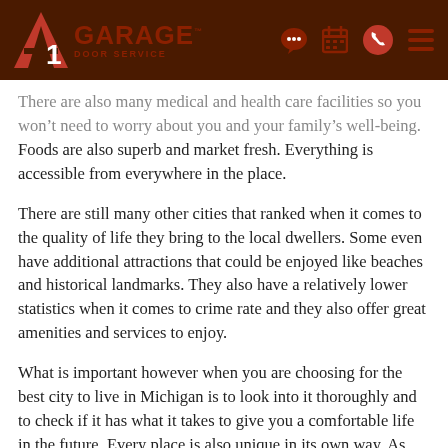A1 Garage Door Service — navigation header
There are also many medical and health care facilities so you won’t need to worry about you and your family’s well-being. Foods are also superb and market fresh. Everything is accessible from everywhere in the place.
There are still many other cities that ranked when it comes to the quality of life they bring to the local dwellers. Some even have additional attractions that could be enjoyed like beaches and historical landmarks. They also have a relatively lower statistics when it comes to crime rate and they also offer great amenities and services to enjoy.
What is important however when you are choosing for the best city to live in Michigan is to look into it thoroughly and to check if it has what it takes to give you a comfortable life in the future. Every place is also unique in its own way. As such,